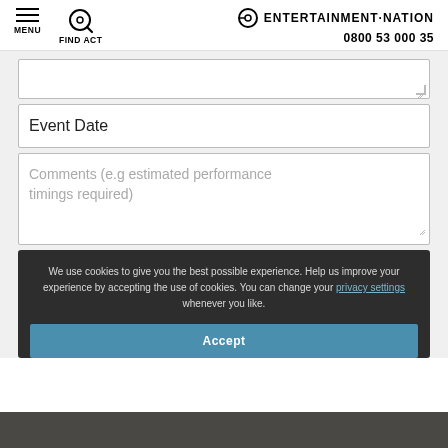MENU  FIND ACT  ENTERTAINMENT·NATION  0800 53 000 35
[Figure (screenshot): Form fields: empty textarea, Event Date input, and Comments textarea with placeholder text. Below is a cookie consent overlay with Accept button. Bottom of page shows a dark image strip.]
Event Date
Comments (e.g estimated performance timings required)
We use cookies to give you the best possible experience. Help us improve your experience by accepting the use of cookies. You can change your privacy settings whenever you like.
Accept